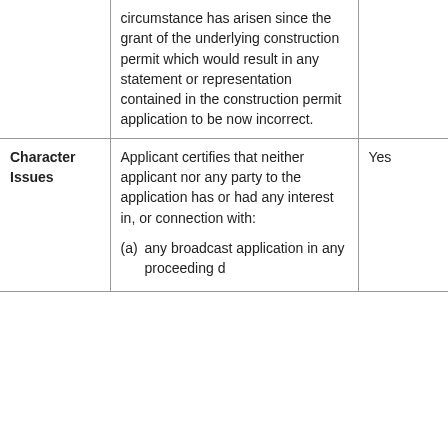|  |  |  |
| --- | --- | --- |
|  | circumstance has arisen since the grant of the underlying construction permit which would result in any statement or representation contained in the construction permit application to be now incorrect. |  |
| Character Issues | Applicant certifies that neither applicant nor any party to the application has or had any interest in, or connection with:
(a) any broadcast application in any proceeding d... | Yes |